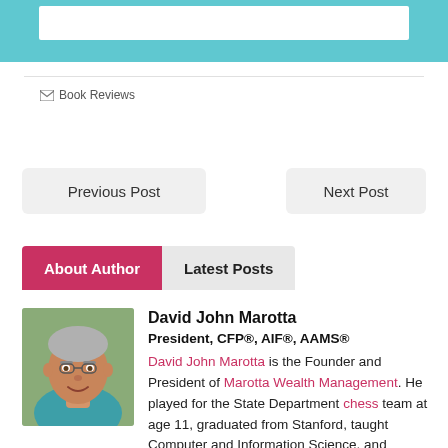[Figure (other): Teal banner with white inner rectangle at top of page]
Book Reviews
Previous Post
Next Post
About Author   Latest Posts
[Figure (photo): Headshot photo of David John Marotta, a middle-aged man with gray hair, smiling, wearing a teal shirt]
David John Marotta
President, CFP®, AIF®, AAMS®
David John Marotta is the Founder and President of Marotta Wealth Management. He played for the State Department chess team at age 11, graduated from Stanford, taught Computer and Information Science, and